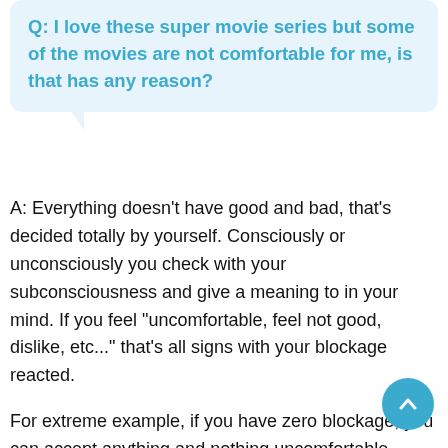Q: I love these super movie series but some of the movies are not comfortable for me, is that has any reason?
A: Everything doesn't have good and bad, that's decided totally by yourself. Consciously or unconsciously you check with your subconsciousness and give a meaning to in your mind. If you feel "uncomfortable, feel not good, dislike, etc..." that's all signs with your blockage reacted.
For extreme example, if you have zero blockage, you can accept anything and nothing uncomfortable react. If you have uncomfortable movie which means you have